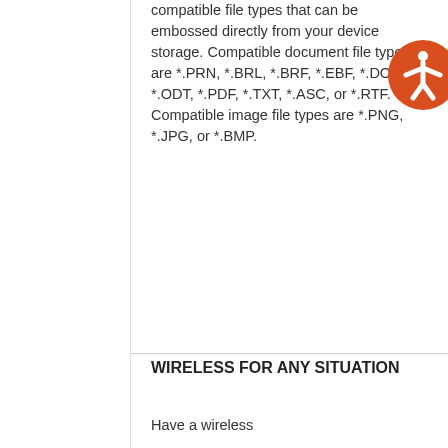compatible file types that can be embossed directly from your device storage. Compatible document file types are *.PRN, *.BRL, *.BRF, *.EBF, *.DOCX, *.ODT, *.PDF, *.TXT, *.ASC, or *.RTF. Compatible image file types are *.PNG, *.JPG, or *.BMP.
WIRELESS FOR ANY SITUATION
Have a wireless